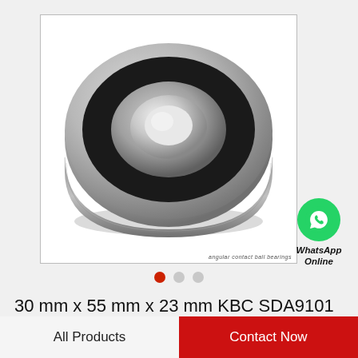[Figure (photo): Angular contact ball bearing (KBC SDA9101), 30mm x 55mm x 23mm, shown from a 3/4 perspective angle. The bearing has a black rubber seal on one side and a metallic/steel ring body with a visible bore hole in the center.]
WhatsApp Online
30 mm x 55 mm x 23 mm KBC SDA9101 angular contact ball bearings
All Products
Contact Now